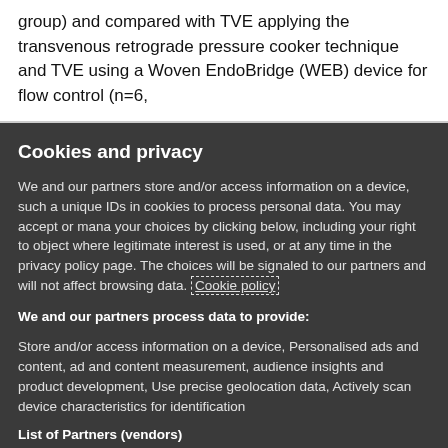group) and compared with TVE applying the transvenous retrograde pressure cooker technique and TVE using a Woven EndoBridge (WEB) device for flow control (n=6,
Cookies and privacy
We and our partners store and/or access information on a device, such as unique IDs in cookies to process personal data. You may accept or manage your choices by clicking below, including your right to object where legitimate interest is used, or at any time in the privacy policy page. These choices will be signaled to our partners and will not affect browsing data. Cookie policy
We and our partners process data to provide:
Store and/or access information on a device, Personalised ads and content, ad and content measurement, audience insights and product development, Use precise geolocation data, Actively scan device characteristics for identification
List of Partners (vendors)
I Accept